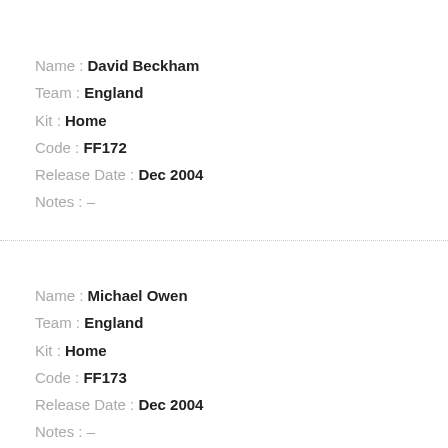Name : David Beckham
Team : England
Kit : Home
Code : FF172
Release Date : Dec 2004
Notes : –
Name : Michael Owen
Team : England
Kit : Home
Code : FF173
Release Date : Dec 2004
Notes : –